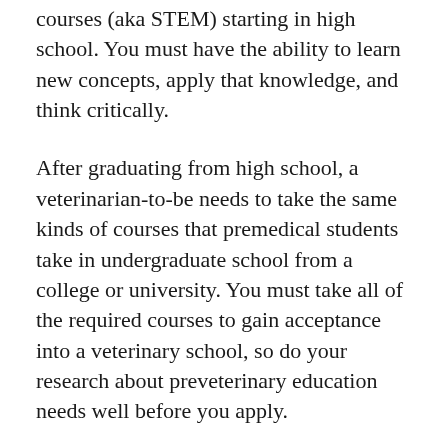courses (aka STEM) starting in high school. You must have the ability to learn new concepts, apply that knowledge, and think critically.
After graduating from high school, a veterinarian-to-be needs to take the same kinds of courses that premedical students take in undergraduate school from a college or university. You must take all of the required courses to gain acceptance into a veterinary school, so do your research about preveterinary education needs well before you apply.
A great resource for finding out what is required is reviewing the American Association of Veterinary Medical Colleges website, as well as the website of the American Veterinary Medical Association